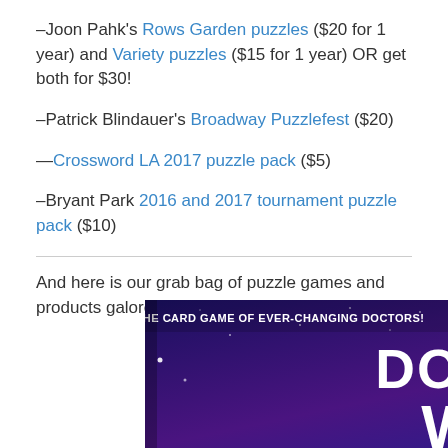–Joon Pahk's Rows Garden puzzles ($20 for 1 year) and Variety puzzles ($15 for 1 year) OR get both for $30!
–Patrick Blindauer's Broadway Puzzlefest ($20)
—Crossword LA 2017 puzzle pack ($5)
–Bryant Park 2016 and 2017 tournament puzzle pack ($10)
And here is our grab bag of puzzle games and products galore!
[Figure (photo): Box of Doctor Who card game with text 'THE CARD GAME OF EVER-CHANGING DOCTORS!' and 'DOCTOR WHO' in large white letters on a purple/space-themed background.]